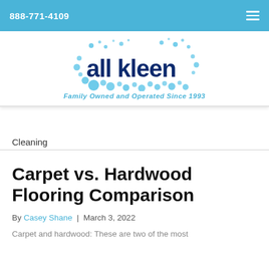888-771-4109
[Figure (logo): All Kleen logo — dark blue bubbly text 'all kleen' surrounded by light blue circles/bubbles]
Family Owned and Operated Since 1993
Cleaning
Carpet vs. Hardwood Flooring Comparison
By Casey Shane | March 3, 2022
Carpet and hardwood: These are two of the most